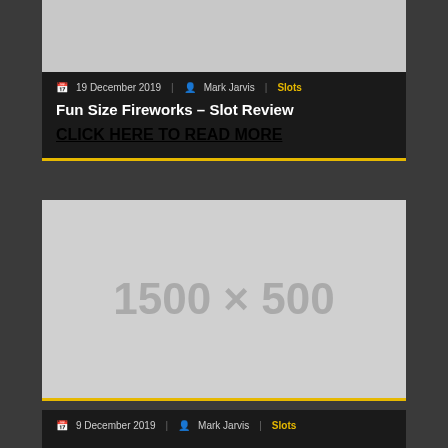[Figure (photo): Partial top image of a slot review card, gray placeholder image cropped at the top]
19 December 2019 | Mark Jarvis | Slots
Fun Size Fireworks – Slot Review
CLICK HERE TO READ MORE
[Figure (photo): Gray placeholder image showing dimensions 1500 × 500]
9 December 2019 | Mark Jarvis | Slots